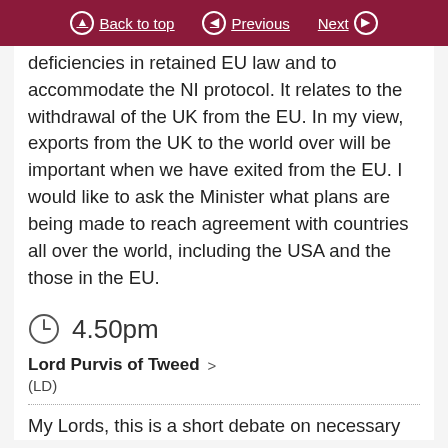Back to top | Previous | Next
deficiencies in retained EU law and to accommodate the NI protocol. It relates to the withdrawal of the UK from the EU. In my view, exports from the UK to the world over will be important when we have exited from the EU. I would like to ask the Minister what plans are being made to reach agreement with countries all over the world, including the USA and the those in the EU.
4.50pm
Lord Purvis of Tweed
(LD)
My Lords, this is a short debate on necessary